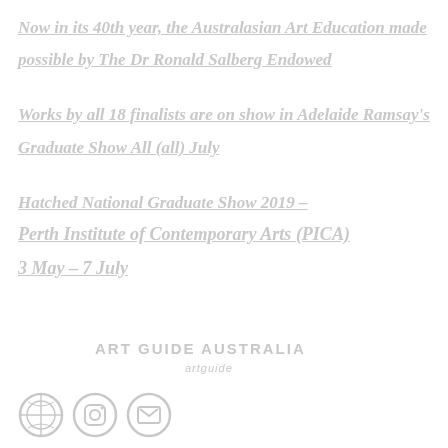Now in its 40th year, the Australasian Art Education made
possible by The Dr Ronald Salberg Endowed
Works by all 18 finalists are on show in Adelaide Ramsay's
Graduate Show All (all) July
Hatched National Graduate Show 2019 –
Perth Institute of Contemporary Arts (PICA)
3 May – 7 July
ART GUIDE AUSTRALIA
artguide
[Figure (logo): Three circular social media or app icons at the bottom left of the page]